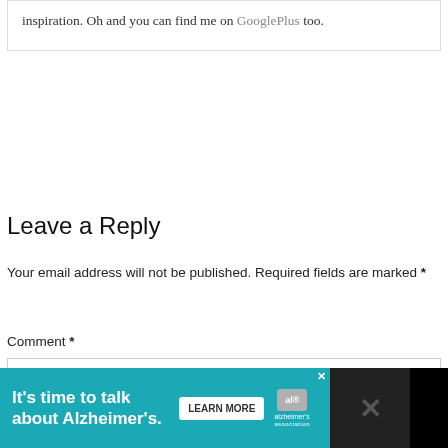inspiration. Oh and you can find me on GooglePlus too.
Leave a Reply
Your email address will not be published. Required fields are marked *
Comment *
[Figure (infographic): Advertisement banner: black background with teal section reading 'It's time to talk about Alzheimer's.' with a LEARN MORE button and Alzheimer's Association logo, plus a close X and dark right panel with X marks.]